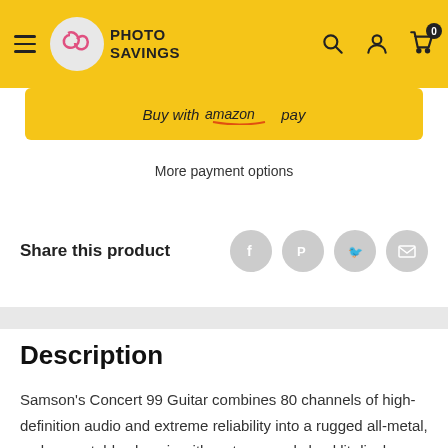Photo Savings
Buy with Amazon Pay
More payment options
Share this product
Description
Samson's Concert 99 Guitar combines 80 channels of high-definition audio and extreme reliability into a rugged all-metal, rack-mountable chassis with a stage-ready backlit display. With simple 1-touch setup, convenient monitoring, a 300' UHF operating range and impressive transmitter battery life, this